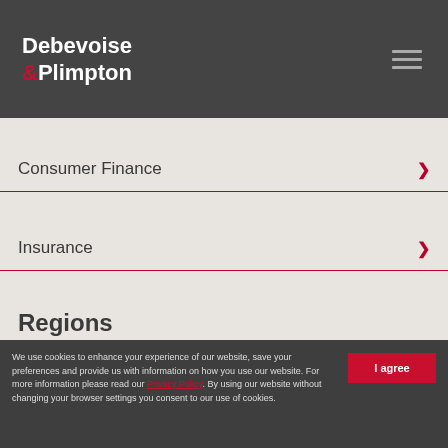Debevoise & Plimpton
Consumer Finance
Insurance
Regions
US/North America
Subscribe  Site Map  Legal  Privacy  UK Modern Slavery Act Transparency Statement
We use cookies to enhance your experience of our website, save your preferences and provide us with information on how you use our website. For more information please read our Privacy Policy. By using our website without changing your browser settings you consent to our use of cookies.